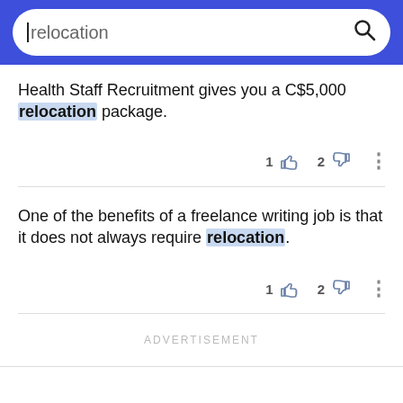[Figure (screenshot): Search bar with blue background showing text 'relocation' and a search icon]
Health Staff Recruitment gives you a C$5,000 relocation package.
One of the benefits of a freelance writing job is that it does not always require relocation.
ADVERTISEMENT